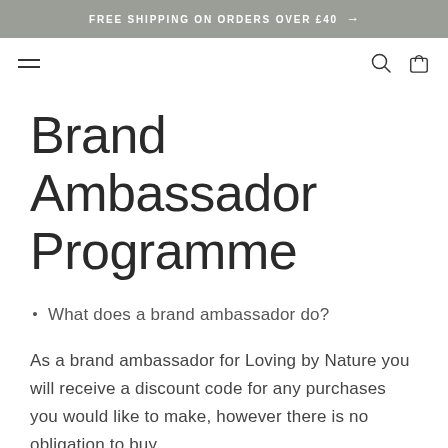FREE SHIPPING ON ORDERS OVER £40 →
Brand Ambassador Programme
What does a brand ambassador do?
As a brand ambassador for Loving by Nature you will receive a discount code for any purchases you would like to make, however there is no obligation to buy